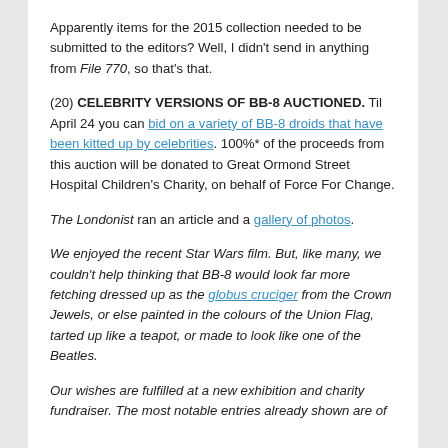Apparently items for the 2015 collection needed to be submitted to the editors? Well, I didn't send in anything from File 770, so that's that.
(20) CELEBRITY VERSIONS OF BB-8 AUCTIONED. Til April 24 you can bid on a variety of BB-8 droids that have been kitted up by celebrities. 100%* of the proceeds from this auction will be donated to Great Ormond Street Hospital Children's Charity, on behalf of Force For Change.
The Londonist ran an article and a gallery of photos.
We enjoyed the recent Star Wars film. But, like many, we couldn't help thinking that BB-8 would look far more fetching dressed up as the globus cruciger from the Crown Jewels, or else painted in the colours of the Union Flag, tarted up like a teapot, or made to look like one of the Beatles.
Our wishes are fulfilled at a new exhibition and charity fundraiser. The most notable entries already shown are of